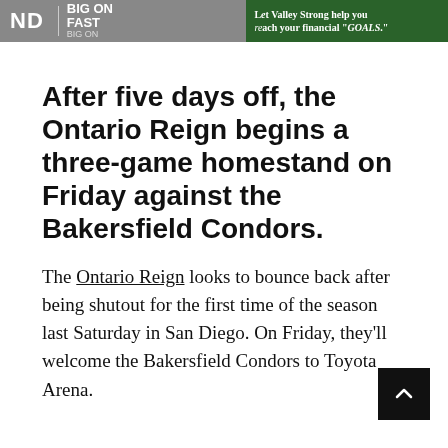[Figure (photo): Banner image showing advertisement with text 'ND', 'FAST', and 'Let Valley Strong help you reach your financial GOALS.']
After five days off, the Ontario Reign begins a three-game homestand on Friday against the Bakersfield Condors.
The Ontario Reign looks to bounce back after being shutout for the first time of the season last Saturday in San Diego. On Friday, they'll welcome the Bakersfield Condors to Toyota Arena.